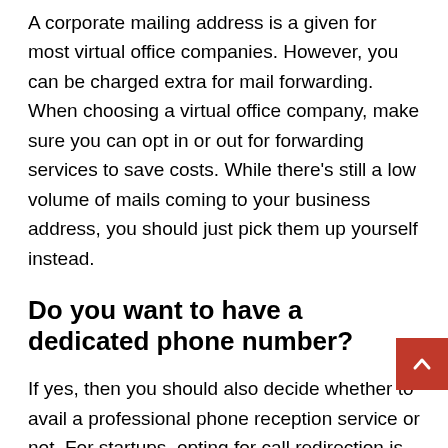A corporate mailing address is a given for most virtual office companies. However, you can be charged extra for mail forwarding. When choosing a virtual office company, make sure you can opt in or out for forwarding services to save costs. While there's still a low volume of mails coming to your business address, you should just pick them up yourself instead.
Do you want to have a dedicated phone number?
If yes, then you should also decide whether to avail a professional phone reception service or not. For startups, opting for call redirection is the most economical option as you usually wouldn't need a live operator, especially if